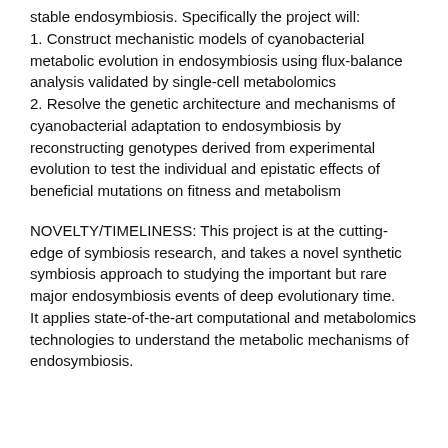stable endosymbiosis. Specifically the project will:
1. Construct mechanistic models of cyanobacterial metabolic evolution in endosymbiosis using flux-balance analysis validated by single-cell metabolomics
2. Resolve the genetic architecture and mechanisms of cyanobacterial adaptation to endosymbiosis by reconstructing genotypes derived from experimental evolution to test the individual and epistatic effects of beneficial mutations on fitness and metabolism
NOVELTY/TIMELINESS: This project is at the cutting-edge of symbiosis research, and takes a novel synthetic symbiosis approach to studying the important but rare major endosymbiosis events of deep evolutionary time.
It applies state-of-the-art computational and metabolomics technologies to understand the metabolic mechanisms of endosymbiosis.